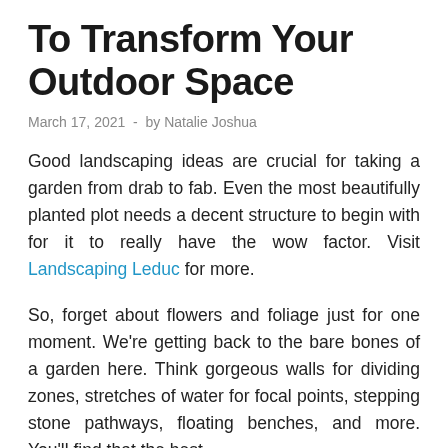To Transform Your Outdoor Space
March 17, 2021  -  by Natalie Joshua
Good landscaping ideas are crucial for taking a garden from drab to fab. Even the most beautifully planted plot needs a decent structure to begin with for it to really have the wow factor. Visit Landscaping Leduc for more.
So, forget about flowers and foliage just for one moment. We're getting back to the bare bones of a garden here. Think gorgeous walls for dividing zones, stretches of water for focal points, stepping stone pathways, floating benches, and more. You'll find that the best